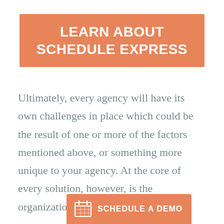LEARN ABOUT SCHEDULE EXPRESS
Ultimately, every agency will have its own challenges in place which could be the result of one or more of the factors mentioned above, or something more unique to your agency. At the core of every solution, however, is the organizational culture.
[Figure (infographic): Orange button with calendar icon and text 'SCHEDULE A DEMO']